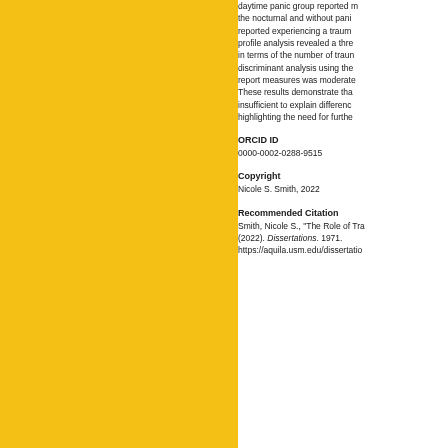daytime panic group reported more than the nocturnal and without panic reported experiencing a trauma profile analysis revealed a three in terms of the number of traum discriminant analysis using the report measures was moderate These results demonstrate tha insufficient to explain differenc highlighting the need for furthe
ORCID ID
0000-0002-0288-9515
Copyright
Nicole S. Smith, 2022
Recommended Citation
Smith, Nicole S., "The Role of Tra (2022). Dissertations. 1971. https://aquila.usm.edu/dissertatio